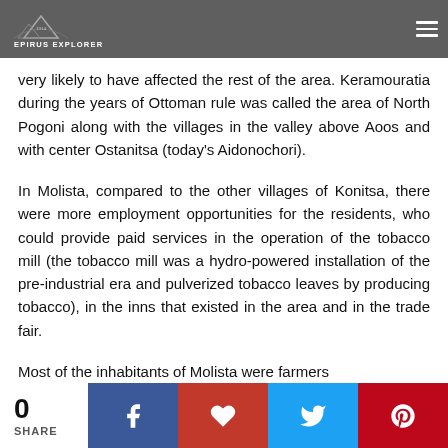EPIRUS EXPLORER
very likely to have affected the rest of the area. Keramouratia during the years of Ottoman rule was called the area of North Pogoni along with the villages in the valley above Aoos and with center Ostanitsa (today's Aidonochori).
In Molista, compared to the other villages of Konitsa, there were more employment opportunities for the residents, who could provide paid services in the operation of the tobacco mill (the tobacco mill was a hydro-powered installation of the pre-industrial era and pulverized tobacco leaves by producing tobacco), in the inns that existed in the area and in the trade fair.
Most of the inhabitants of Molista were farmers
0 SHARE